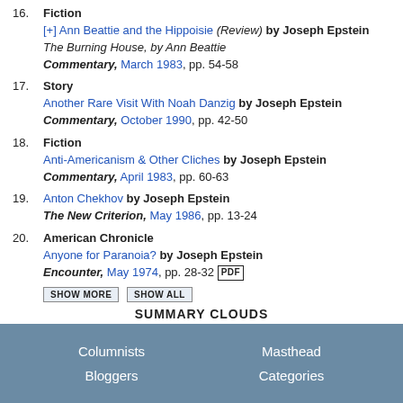16. Fiction [+] Ann Beattie and the Hippoisie (Review) by Joseph Epstein The Burning House, by Ann Beattie Commentary, March 1983, pp. 54-58
17. Story Another Rare Visit With Noah Danzig by Joseph Epstein Commentary, October 1990, pp. 42-50
18. Fiction Anti-Americanism & Other Cliches by Joseph Epstein Commentary, April 1983, pp. 60-63
19. Anton Chekhov by Joseph Epstein The New Criterion, May 1986, pp. 13-24
20. American Chronicle Anyone for Paranoia? by Joseph Epstein Encounter, May 1974, pp. 28-32 PDF
SHOW MORE   SHOW ALL
SUMMARY CLOUDS
Columnists   Masthead   Bloggers   Categories